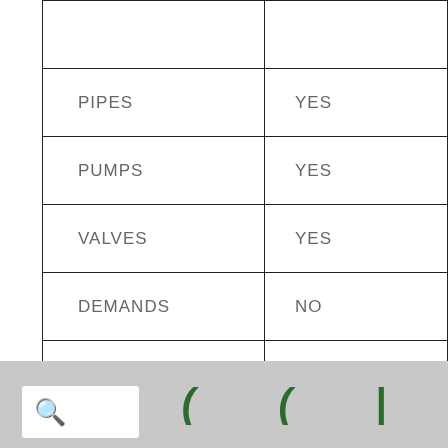| PIPES | YES |
| PUMPS | YES |
| VALVES | YES |
| DEMANDS | NO |
| TAGS | YES |
| STATUS | YES |